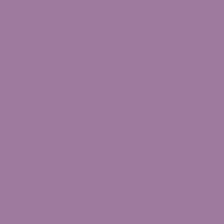For we have been with thee in No Man's Land, Through lake of fire and down to Hell itself; And now we ask of thee our liberty, Our freedom in the land of Stars and Stripes.
I am glad that the Prince of Peace is hovering over No Man's Land.
TIRED
I am tired of work; I am tired of building up somebody else's civilization.
Let us take a rest, M'Lissy Jane.